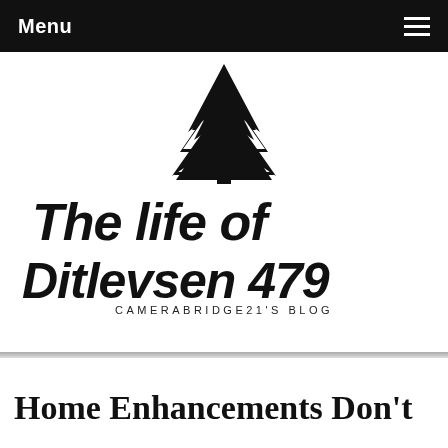Menu
[Figure (logo): Tree illustration logo above handwritten text 'The Life of Ditlevsen 479' with subtitle 'CAMERABRIDGE21'S BLOG']
Home Enhancements Don't